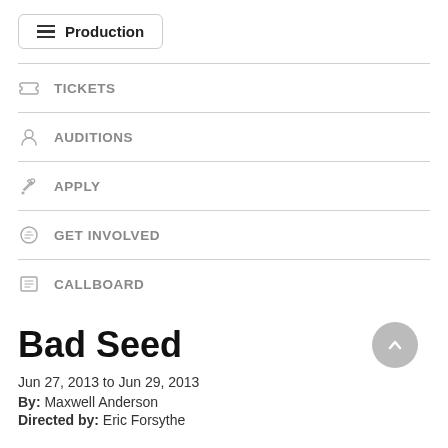Production
TICKETS
AUDITIONS
APPLY
GET INVOLVED
CALLBOARD
Bad Seed
Jun 27, 2013 to Jun 29, 2013
By: Maxwell Anderson
Directed by: Eric Forsythe